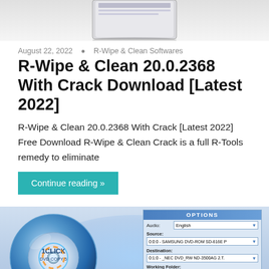[Figure (photo): Top portion of a software product box (R-Wipe & Clean), partially visible at the top of the page]
August 22, 2022  •  R-Wipe & Clean Softwares
R-Wipe & Clean 20.0.2368 With Crack Download [Latest 2022]
R-Wipe & Clean 20.0.2368 With Crack [Latest 2022] Free Download R-Wipe & Clean Crack is a full R-Tools remedy to eliminate
Continue reading »
[Figure (screenshot): 1CLICK DVD Copy 5 software screenshot showing a DVD disc graphic and an OPTIONS dialog box with Audio (English), Source (0:0:0 - SAMSUNG DVD-ROM SD-616E P), Destination (0:1:0 - _NEC DVD_RW ND-3500AG 2.T.), and Working Folder (C:\Temp) fields]